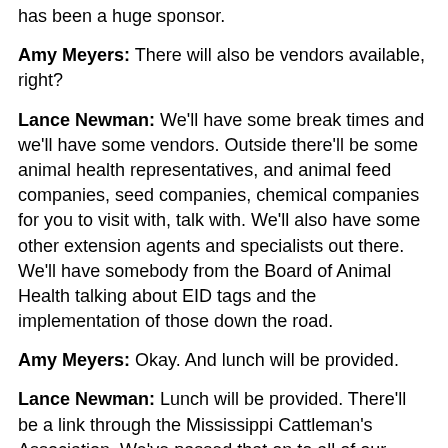has been a huge sponsor.
Amy Meyers: There will also be vendors available, right?
Lance Newman: We'll have some break times and we'll have some vendors. Outside there'll be some animal health representatives, and animal feed companies, seed companies, chemical companies for you to visit with, talk with. We'll also have some other extension agents and specialists out there. We'll have somebody from the Board of Animal Health talking about EID tags and the implementation of those down the road.
Amy Meyers: Okay. And lunch will be provided.
Lance Newman: Lunch will be provided. There'll be a link through the Mississippi Cattleman's Association. We've passed that on to all of our extension offices, or you can call your local Mississippi State University Extension Office. Please let their agent know how many is coming so we can have a count before the day of each